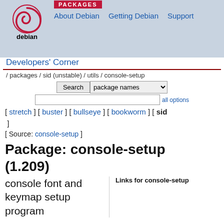PACKAGES
About Debian   Getting Debian   Support
[Figure (logo): Debian swirl logo with 'debian' text below]
Developers' Corner
/ packages / sid (unstable) / utils / console-setup
[ stretch ] [ buster ] [ bullseye ] [ bookworm ] [ sid ]
[ Source: console-setup ]
Package: console-setup (1.209)
console font and keymap setup program
Links for console-setup